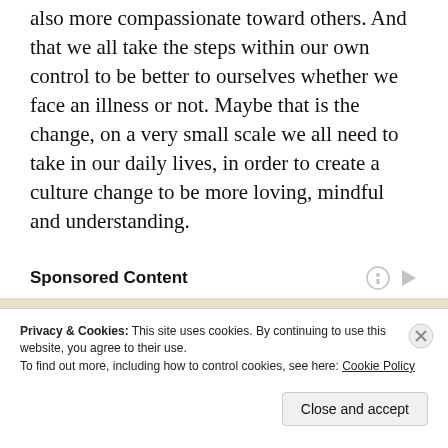also more compassionate toward others. And that we all take the steps within our own control to be better to ourselves whether we face an illness or not. Maybe that is the change, on a very small scale we all need to take in our daily lives, in order to create a culture change to be more loving, mindful and understanding.
Sponsored Content
[Figure (photo): Close-up of printed text reading 'right for what is thoug- relation or from any po- f...' on aged paper background]
Privacy & Cookies: This site uses cookies. By continuing to use this website, you agree to their use.
To find out more, including how to control cookies, see here: Cookie Policy
Close and accept